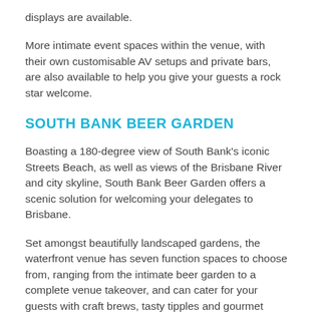displays are available.
More intimate event spaces within the venue, with their own customisable AV setups and private bars, are also available to help you give your guests a rock star welcome.
SOUTH BANK BEER GARDEN
Boasting a 180-degree view of South Bank's iconic Streets Beach, as well as views of the Brisbane River and city skyline, South Bank Beer Garden offers a scenic solution for welcoming your delegates to Brisbane.
Set amongst beautifully landscaped gardens, the waterfront venue has seven function spaces to choose from, ranging from the intimate beer garden to a complete venue takeover, and can cater for your guests with craft brews, tasty tipples and gourmet eats.